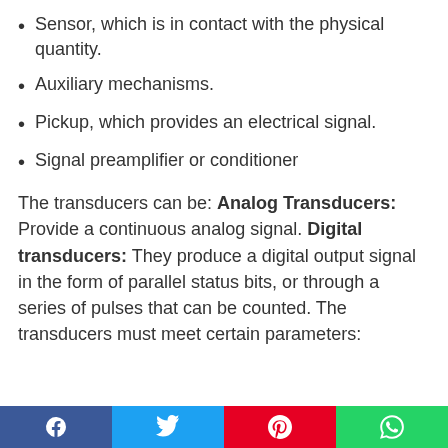Sensor, which is in contact with the physical quantity.
Auxiliary mechanisms.
Pickup, which provides an electrical signal.
Signal preamplifier or conditioner
The transducers can be: Analog Transducers: Provide a continuous analog signal. Digital transducers: They produce a digital output signal in the form of parallel status bits, or through a series of pulses that can be counted. The transducers must meet certain parameters: